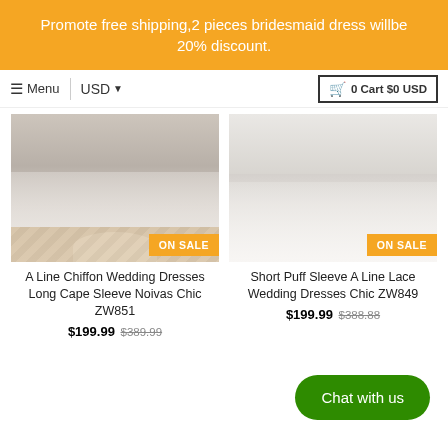Promote free shipping,2 pieces bridesmaid dress willbe 20% discount.
≡ Menu  |  USD ▾  🛒 0 Cart $0 USD
[Figure (photo): Partial view of a wedding dress (bottom hem area) on a tiled floor, with orange ON SALE badge]
A Line Chiffon Wedding Dresses Long Cape Sleeve Noivas Chic ZW851
$199.99  $389.99
[Figure (photo): Partial view of a lace wedding dress (upper train area) against light background, with orange ON SALE badge]
Short Puff Sleeve A Line Lace Wedding Dresses Chic ZW849
$199.99  $388.88
Chat with us